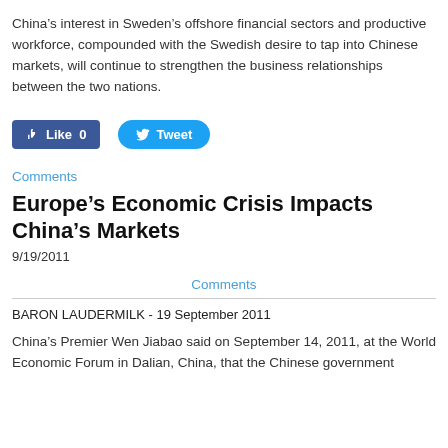China’s interest in Sweden’s offshore financial sectors and productive workforce, compounded with the Swedish desire to tap into Chinese markets, will continue to strengthen the business relationships between the two nations.
[Figure (other): Facebook Like button (blue, count 0) and Twitter Tweet button (blue rounded)]
Comments
Europe’s Economic Crisis Impacts China’s Markets
9/19/2011
Comments
BARON LAUDERMILK - 19 September 2011
China’s Premier Wen Jiabao said on September 14, 2011, at the World Economic Forum in Dalian, China, that the Chinese government